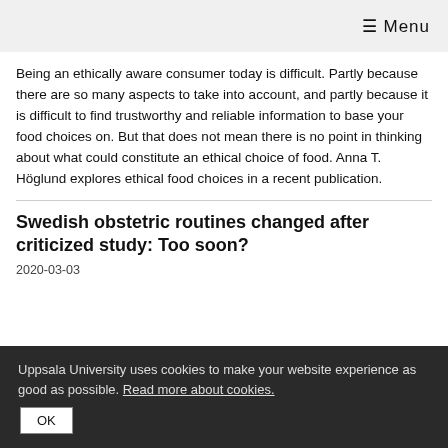☰ Menu
Being an ethically aware consumer today is difficult. Partly because there are so many aspects to take into account, and partly because it is difficult to find trustworthy and reliable information to base your food choices on. But that does not mean there is no point in thinking about what could constitute an ethical choice of food. Anna T. Höglund explores ethical food choices in a recent publication.
Swedish obstetric routines changed after criticized study: Too soon?
2020-03-03
Uppsala University uses cookies to make your website experience as good as possible. Read more about cookies.